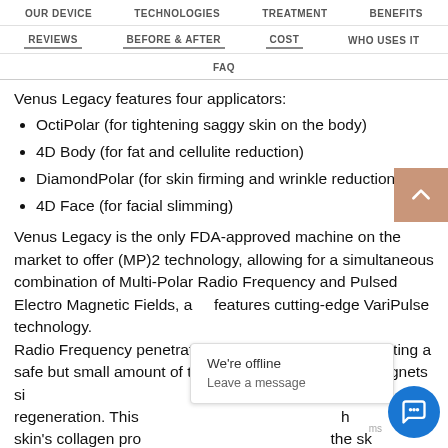OUR DEVICE | TECHNOLOGIES | TREATMENT | BENEFITS | REVIEWS | BEFORE & AFTER | COST | WHO USES IT | FAQ
Venus Legacy features four applicators:
OctiPolar (for tightening saggy skin on the body)
4D Body (for fat and cellulite reduction)
DiamondPolar (for skin firming and wrinkle reduction)
4D Face (for facial slimming)
Venus Legacy is the only FDA-approved machine on the market to offer (MP)2 technology, allowing for a simultaneous combination of Multi-Polar Radio Frequency and Pulsed Electro Magnetic Fields, and features cutting-edge VariPulse technology. Radio Frequency penetrates deep into the dermis, creating a safe but small amount of thermal injury. The pulsed magnets simulate... hair regeneration. This h... the skin's collagen pro... the sk...